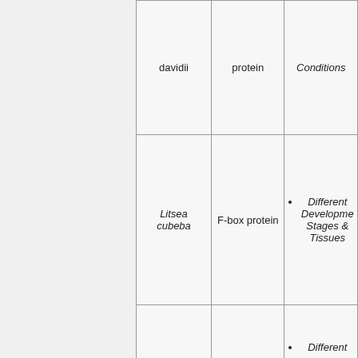| Species | Protein | Conditions |
| --- | --- | --- |
| davidii | protein | Conditions |
| Litsea cubeba | F-box protein | Different Development Stages & Tissues |
|  |  | Different |